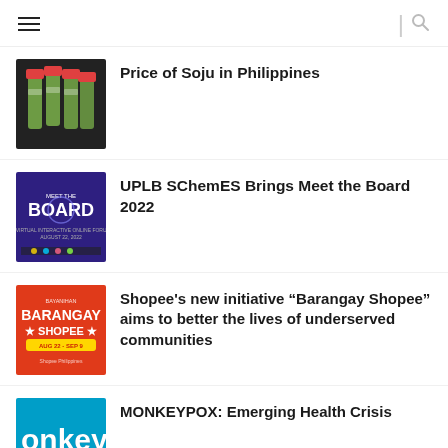Navigation menu and search
Price of Soju in Philippines
UPLB SChemES Brings Meet the Board 2022
Shopee's new initiative “Barangay Shopee” aims to better the lives of underserved communities
MONKEYPOX: Emerging Health Crisis
Ben&Ben push the mental health